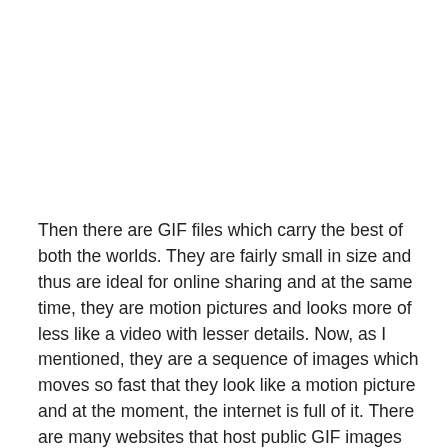Then there are GIF files which carry the best of both the worlds. They are fairly small in size and thus are ideal for online sharing and at the same time, they are motion pictures and looks more of less like a video with lesser details. Now, as I mentioned, they are a sequence of images which moves so fast that they look like a motion picture and at the moment, the internet is full of it. There are many websites that host public GIF images that you can use and share online. We have also shared quite a few ways on how you can make GIF files from photos and videos and you can have a look at the previous articles for